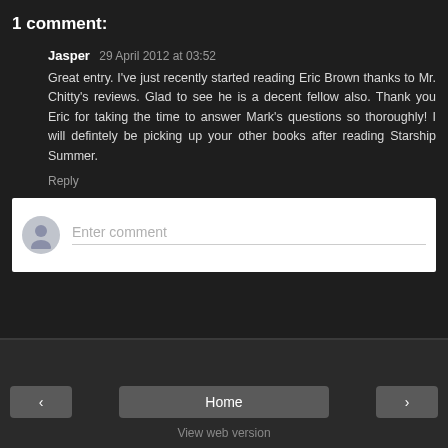1 comment:
Jasper  29 April 2012 at 03:52
Great entry. I've just recently started reading Eric Brown thanks to Mr. Chitty's reviews. Glad to see he is a decent fellow also. Thank you Eric for taking the time to answer Mark's questions so thoroughly! I will defintely be picking up your other books after reading Starship Summer.
Reply
[Figure (other): Comment input area with avatar placeholder and 'Enter comment' placeholder text]
< Home > View web version